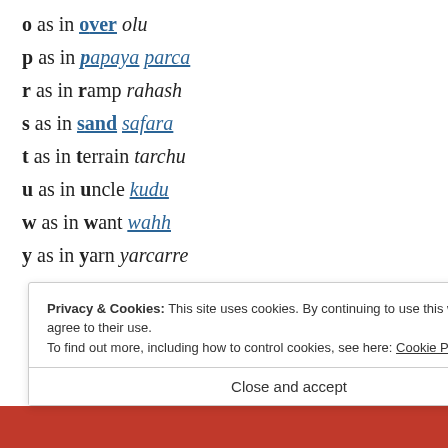o as in over olu
p as in papaya parca
r as in ramp rahash
s as in sand safara
t as in terrain tarchu
u as in uncle kudu
w as in want wahh
y as in yarn yarcarre
Privacy & Cookies: This site uses cookies. By continuing to use this website, you agree to their use.
To find out more, including how to control cookies, see here: Cookie Policy
Close and accept